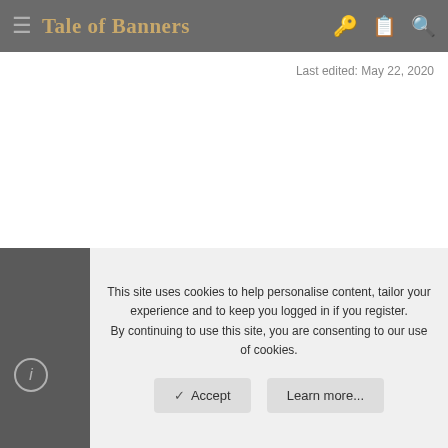Tale of Banners
Last edited: May 22, 2020
This site uses cookies to help personalise content, tailor your experience and to keep you logged in if you register. By continuing to use this site, you are consenting to our use of cookies.
Accept
Learn more...